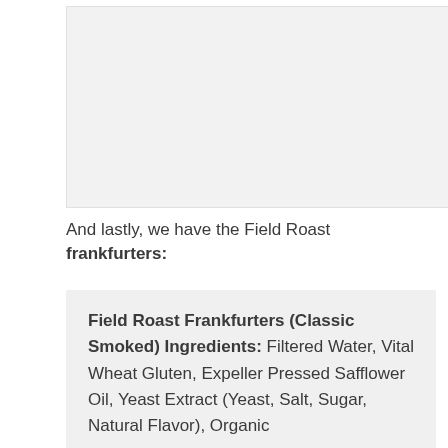[Figure (photo): Image placeholder area at top of page]
And lastly, we have the Field Roast frankfurters:
Field Roast Frankfurters (Classic Smoked) Ingredients: Filtered Water, Vital Wheat Gluten, Expeller Pressed Safflower Oil, Yeast Extract (Yeast, Salt, Sugar, Natural Flavor), Organic